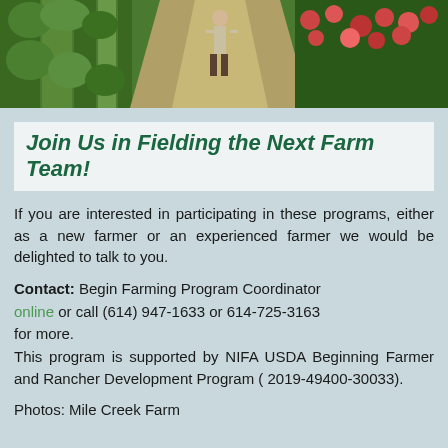[Figure (photo): Aerial or overhead view of farm rows with a person walking between lush green crop rows and flowering plants]
Join Us in Fielding the Next Farm Team!
If you are interested in participating in these programs, either as a new farmer or an experienced farmer we would be delighted to talk to you.
Contact: Begin Farming Program Coordinator online or call (614) 947-1633 or 614-725-3163 for more.
This program is supported by NIFA USDA Beginning Farmer and Rancher Development Program ( 2019-49400-30033).
Photos: Mile Creek Farm